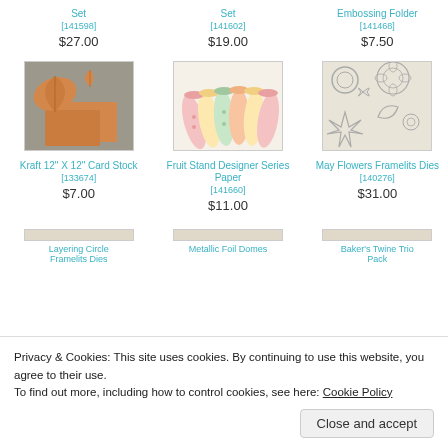Set [141598] $27.00
Set [141602] $19.00
Embossing Folder [141468] $7.50
[Figure (photo): Kraft paper card stock with maple leaf and smaller leaf die-cuts on grey background]
[Figure (photo): Rolled tubes of Fruit Stand Designer Series Paper in colorful patterns]
[Figure (photo): May Flowers Framelits Dies set of flower and leaf shaped dies on cream background]
Kraft 12" X 12" Card Stock [133674] $7.00
Fruit Stand Designer Series Paper [141660] $11.00
May Flowers Framelits Dies [140276] $31.00
Privacy & Cookies: This site uses cookies. By continuing to use this website, you agree to their use.
To find out more, including how to control cookies, see here: Cookie Policy
Close and accept
Layering Circle Framelits Dies
Metallic Foil Domes
Baker's Twine Trio Pack